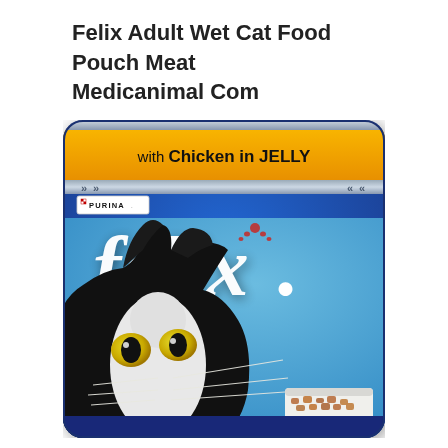Felix Adult Wet Cat Food Pouch Meat Medicanimal Com
[Figure (photo): Felix Adult Wet Cat Food pouch packaging by Purina — blue pouch with yellow/orange banner reading 'with Chicken in JELLY', Purina logo, Felix script logo in white, black and white cat peeking up from bottom with green/yellow eyes and whiskers, bowl of wet cat food visible at bottom right.]